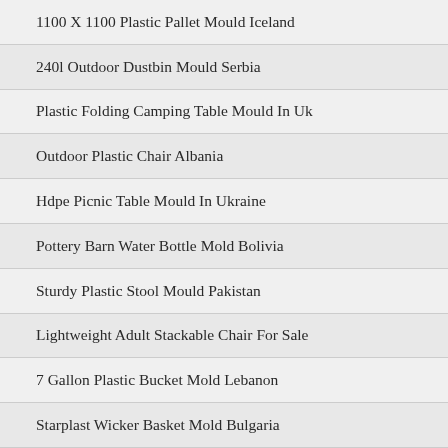1100 X 1100 Plastic Pallet Mould Iceland
240l Outdoor Dustbin Mould Serbia
Plastic Folding Camping Table Mould In Uk
Outdoor Plastic Chair Albania
Hdpe Picnic Table Mould In Ukraine
Pottery Barn Water Bottle Mold Bolivia
Sturdy Plastic Stool Mould Pakistan
Lightweight Adult Stackable Chair For Sale
7 Gallon Plastic Bucket Mold Lebanon
Starplast Wicker Basket Mold Bulgaria